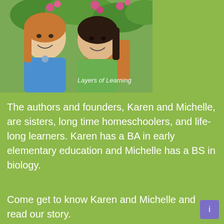[Figure (photo): Two women laughing together outdoors in a garden setting. One wears a blue top, the other a green top. Text overlay reads 'Layers of Learning'.]
The authors and founders, Karen and Michelle, are sisters, long time homeschoolers, and life-long learners. Karen has a BA in early elementary education and Michelle has a BS in biology.
Come get to know Karen and Michelle and read our story.